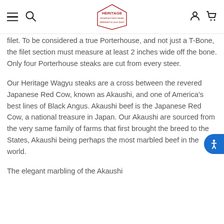Heritage Foods — site header with navigation icons and logo
filet. To be considered a true Porterhouse, and not just a T-Bone, the filet section must measure at least 2 inches wide off the bone. Only four Porterhouse steaks are cut from every steer.
Our Heritage Wagyu steaks are a cross between the revered Japanese Red Cow, known as Akaushi, and one of America's best lines of Black Angus. Akaushi beef is the Japanese Red Cow, a national treasure in Japan. Our Akaushi are sourced from the very same family of farms that first brought the breed to the States, Akaushi being perhaps the most marbled beef in the world.
The elegant marbling of the Akaushi